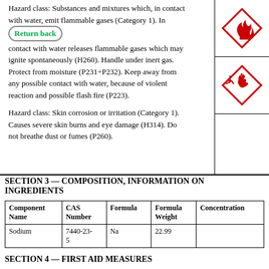Hazard class: Substances and mixtures which, in contact with water, emit flammable gases (Category 1). In contact with water releases flammable gases which may ignite spontaneously (H260). Handle under inert gas. Protect from moisture (P231+P232). Keep away from any possible contact with water, because of violent reaction and possible flash fire (P223).
[Figure (illustration): GHS flame hazard pictogram — red diamond with flame symbol]
[Figure (illustration): GHS corrosion hazard pictogram — red diamond with corrosion symbol]
Hazard class: Skin corrosion or irritation (Category 1). Causes severe skin burns and eye damage (H314). Do not breathe dust or fumes (P260).
SECTION 3 — COMPOSITION, INFORMATION ON INGREDIENTS
| Component Name | CAS Number | Formula | Formula Weight | Concentration |
| --- | --- | --- | --- | --- |
| Sodium | 7440-23-5 | Na | 22.99 |  |
SECTION 4 — FIRST AID MEASURES